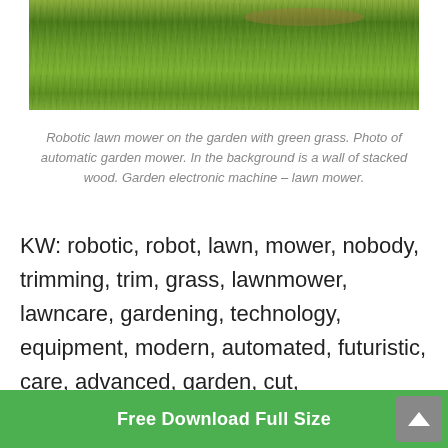[Figure (photo): Photograph of green grass lawn, partial top view, with a dirt patch visible in the upper background area.]
Robotic lawn mower on the garden with green grass. Photo of automatic garden mower. In the background is a wall of stacked wood. Garden electronic machine – lawn mower.
KW: robotic, robot, lawn, mower, nobody, trimming, trim, grass, lawnmower, lawncare, gardening, technology, equipment, modern, automated, futuristic, care, advanced, garden, cut, maintenance, electronic, machine, yard, mowing, automatic, gardener, green, property, mow, growth, blades, maintained
Free Download Full Size